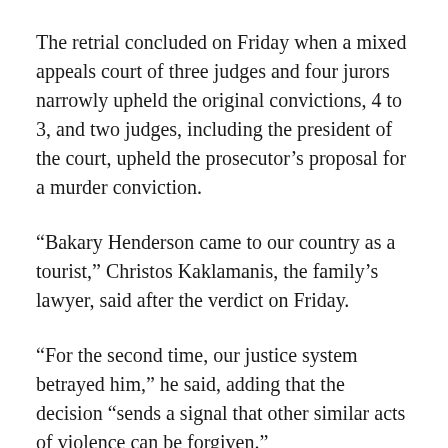The retrial concluded on Friday when a mixed appeals court of three judges and four jurors narrowly upheld the original convictions, 4 to 3, and two judges, including the president of the court, upheld the prosecutor's proposal for a murder conviction.
“Bakary Henderson came to our country as a tourist,” Christos Kaklamanis, the family’s lawyer, said after the verdict on Friday.
“For the second time, our justice system betrayed him,” he said, adding that the decision “sends a signal that other similar acts of violence can be forgiven.”